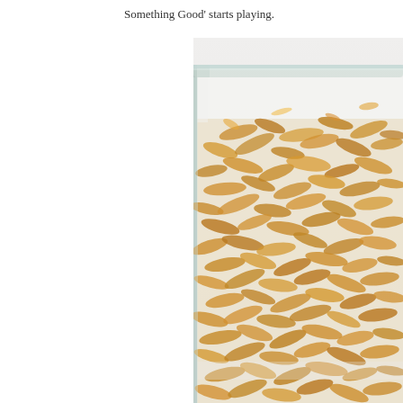Something Good' starts playing.
[Figure (photo): A glass baking dish filled with a white creamy dessert topped with toasted coconut flakes, viewed from a slightly elevated angle on a light background.]